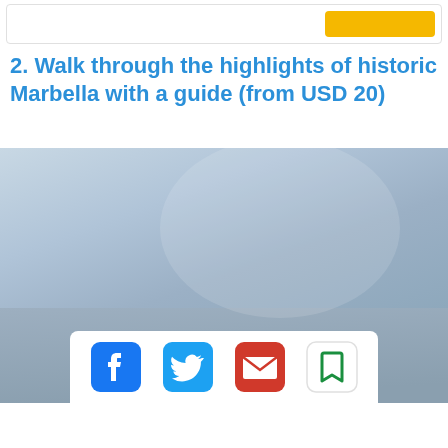[Figure (screenshot): Top navigation/search bar with a yellow button on the right side]
2. Walk through the highlights of historic Marbella with a guide (from USD 20)
[Figure (photo): Large landscape photo with a blue-grey gradient sky and muted tones, likely a scenic view of Marbella]
[Figure (infographic): Social sharing bar with Facebook, Twitter, email, and bookmark icons]